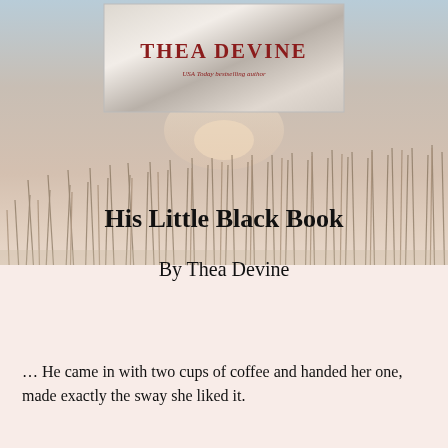[Figure (illustration): Book cover for 'His Little Black Book' by Thea Devine (USA Today bestselling author), showing a beach/marsh scene with tall grass and a sunset sky. The author name panel appears at top center with silver/metallic styling.]
His Little Black Book
By Thea Devine
… He came in with two cups of coffee and handed her one, made exactly the sway she liked it.